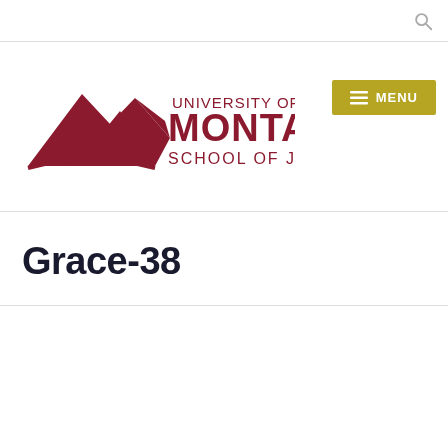[Figure (logo): University of Montana School of Journalism logo with mountain graphic in dark red/maroon]
[Figure (other): Hamburger menu button with gold/olive background labeled MENU]
Grace-38